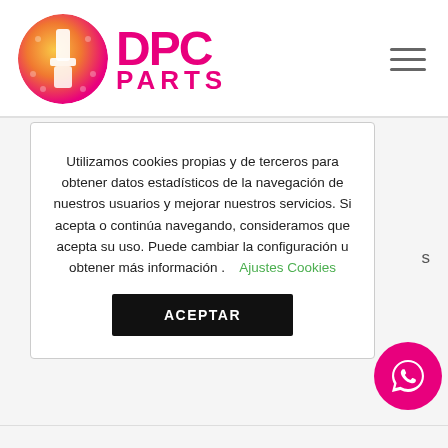[Figure (logo): DPC Parts logo with pink circular emblem and pink bold DPC PARTS text]
Utilizamos cookies propias y de terceros para obtener datos estadísticos de la navegación de nuestros usuarios y mejorar nuestros servicios. Si acepta o continúa navegando, consideramos que acepta su uso. Puede cambiar la configuración u obtener más información .   Ajustes Cookies
ACEPTAR